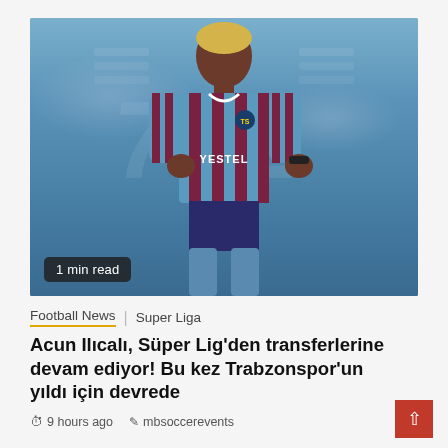[Figure (photo): A football player wearing a blue and dark red striped Trabzonspor jersey with YESTEL sponsor, standing in front of a stadium. The player has light blonde hair. A '1 min read' badge appears at the bottom left of the image.]
Football News  Super Liga
Acun Ilıcalı, Süper Lig'den transferlerine devam ediyor! Bu kez Trabzonspor'un yıldı için devrede
9 hours ago   mbsoccerevents